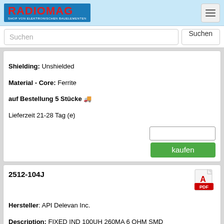RADIOMAG - SHOP VON ELEKTRONISCHEN BAUELEMENTEN
Shielding: Unshielded
Material - Core: Ferrite
auf Bestellung 5 Stücke
Lieferzeit 21-28 Tag (e)
2512-104J
Hersteller: API Delevan Inc.
Description: FIXED IND 100UH 260MA 6 OHM SMD
Packaging: Tape & Reel (TR)
Tolerance: ±5%
Package / Case: 2-SMD, J-Lead
Size / Dimension: 0.255" L x 0.105" W (6.48mm x 2.67mm)
Mounting Type: Surface Mount
Shielding: Unshielded
Operating Temperature: -55°C ~ 125°C
DC Resistance (DCR): 6Ohm Max
Current - Saturation (Isat): 195mA
Material - Core: Ferrite